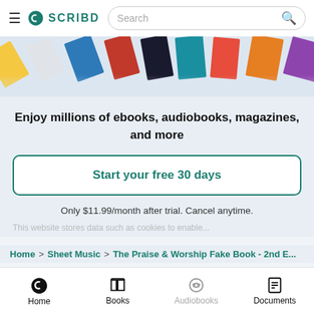Scribd — Search bar with hamburger menu and Scribd logo
[Figure (photo): Horizontal scrolling strip of book covers displayed at a diagonal/rotated angle]
Enjoy millions of ebooks, audiobooks, magazines, and more
Start your free 30 days
Only $11.99/month after trial. Cancel anytime.
This website stores data such as cookies to enable...
Home > Sheet Music > The Praise & Worship Fake Book - 2nd E...
Home  Books  Audiobooks  Documents